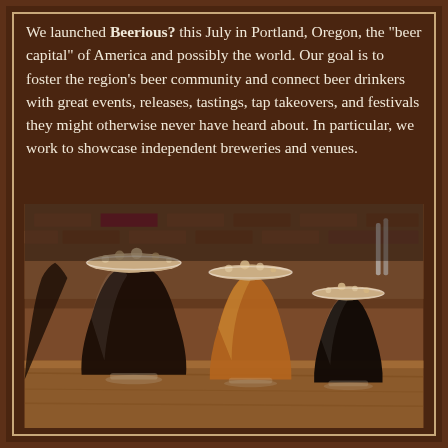We launched Beerious? this July in Portland, Oregon, the "beer capital" of America and possibly the world. Our goal is to foster the region's beer community and connect beer drinkers with great events, releases, tastings, tap takeovers, and festivals they might otherwise never have heard about. In particular, we work to showcase independent breweries and venues.
[Figure (photo): Three glasses of beer on a wooden bar table — a large dark stout on the left, an amber/red ale in the middle, and a smaller dark porter on the right, with a blurred brick wall and bar shelves in the background.]